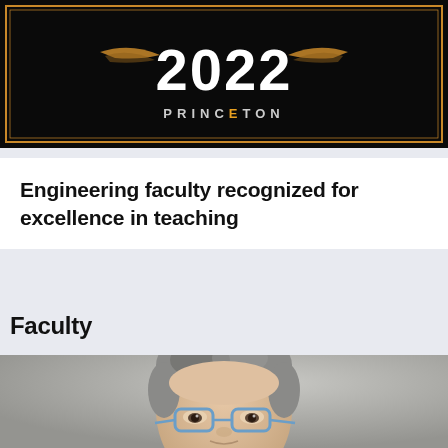[Figure (logo): Princeton 2022 banner with decorative gold border on black background, showing '2022' in large white text and 'PRINCETON' below it]
Engineering faculty recognized for excellence in teaching
Faculty
[Figure (photo): Close-up portrait photo of a person with short gray hair and blue-framed glasses, looking slightly downward, against a neutral gray background]